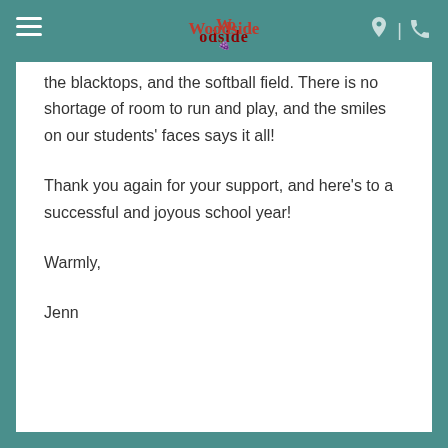Woodside [logo with hamburger menu, location pin, and phone icons]
enjoy all that our campus has to offer again. Upper grade students have access to the play structure, the turf field, the blacktops, and the softball field. There is no shortage of room to run and play, and the smiles on our students' faces says it all!
Thank you again for your support, and here's to a successful and joyous school year!
Warmly,
Jenn